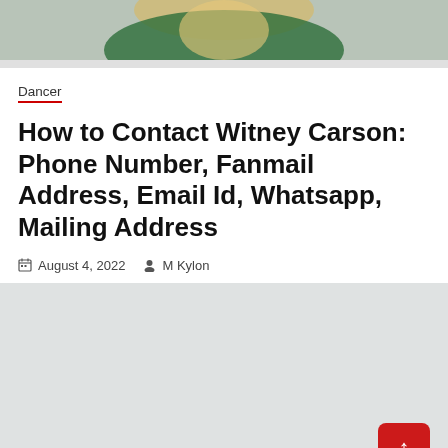[Figure (photo): Photo of Witney Carson, a blonde woman wearing a green sequined outfit, cropped to show upper body and face]
Dancer
How to Contact Witney Carson: Phone Number, Fanmail Address, Email Id, Whatsapp, Mailing Address
August 4, 2022   M Kylon